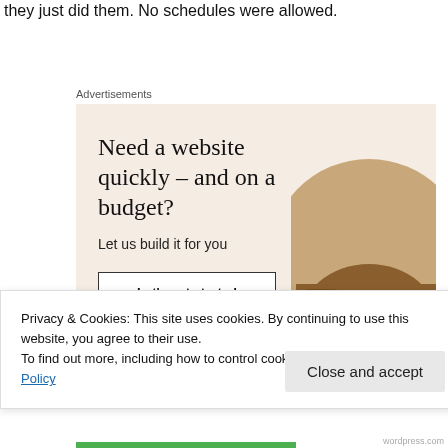they just did them. No schedules were allowed.
Advertisements
[Figure (infographic): Advertisement banner with beige/cream background. Headline: 'Need a website quickly – and on a budget?' Subtext: 'Let us build it for you'. Button: 'Let's get started'. Circular photo of person's hands on a laptop/tablet on the right side.]
Privacy & Cookies: This site uses cookies. By continuing to use this website, you agree to their use.
To find out more, including how to control cookies, see here: Cookie Policy
Close and accept